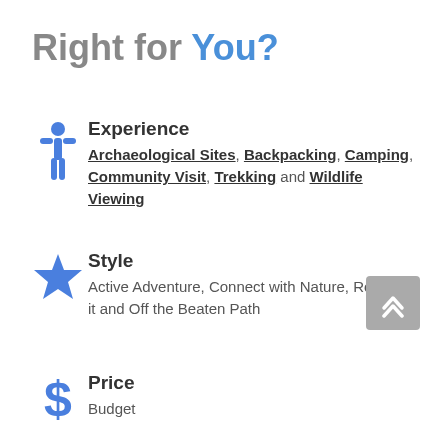Right for You?
Experience: Archaeological Sites, Backpacking, Camping, Community Visit, Trekking and Wildlife Viewing
Style: Active Adventure, Connect with Nature, Roughing it and Off the Beaten Path
Price: Budget